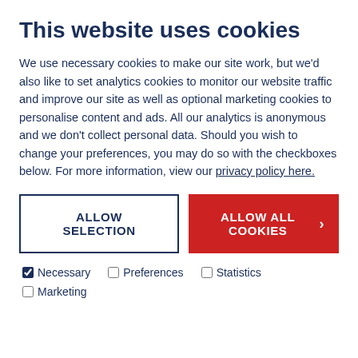This website uses cookies
We use necessary cookies to make our site work, but we'd also like to set analytics cookies to monitor our website traffic and improve our site as well as optional marketing cookies to personalise content and ads. All our analytics is anonymous and we don't collect personal data. Should you wish to change your preferences, you may do so with the checkboxes below. For more information, view our privacy policy here.
ALLOW SELECTION | ALLOW ALL COOKIES >
✓ Necessary  □ Preferences  □ Statistics
□ Marketing